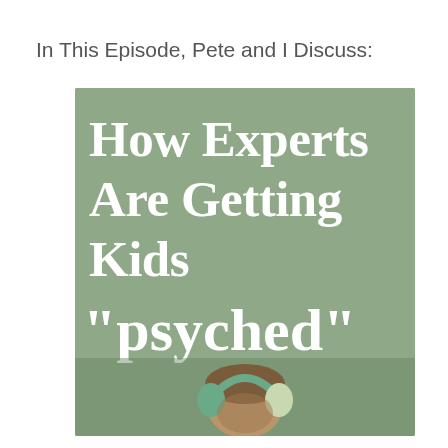In This Episode, Pete and I Discuss:
[Figure (photo): Book or podcast cover image with sage green background showing large white serif text reading 'How Experts Are Getting Kids' and playful white cursive/bubble text reading '"psyched"', with a child wearing headphones visible at the bottom of the image.]